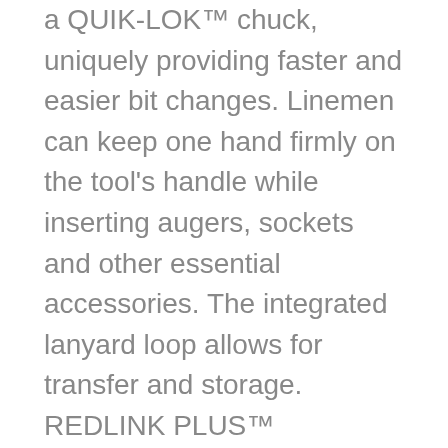a QUIK-LOK™ chuck, uniquely providing faster and easier bit changes. Linemen can keep one hand firmly on the tool's handle while inserting augers, sockets and other essential accessories. The integrated lanyard loop allows for transfer and storage. REDLINK PLUS™ Intelligence ensures maximum performance and protects from overloads, heating and over-discharge. The REDLITHIUM™ Battery Pack (not included on bare tool) is compatible with 175+ M18™ tools, delivers more work per charge and more work over the life of the pack than competitors. With ONE-KEY™, you also gain the ability to Customize, Track and Manage your utility impact. ONE-KEY™ technology also allows you to save up to 4 task settings directly to the tool. If your tool is ever lost or stolen, its tracking